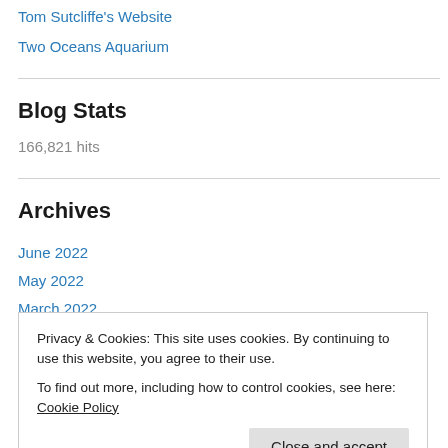Tom Sutcliffe's Website
Two Oceans Aquarium
Blog Stats
166,821 hits
Archives
June 2022
May 2022
March 2022
Privacy & Cookies: This site uses cookies. By continuing to use this website, you agree to their use.
To find out more, including how to control cookies, see here: Cookie Policy
December 2021
November 2021